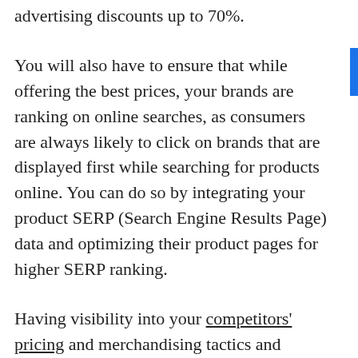advertising discounts up to 70%.
You will also have to ensure that while offering the best prices, your brands are ranking on online searches, as consumers are always likely to click on brands that are displayed first while searching for products online. You can do so by integrating your product SERP (Search Engine Results Page) data and optimizing their product pages for higher SERP ranking.
Having visibility into your competitors' pricing and merchandising tactics and altering your strategies accordingly is a great way to stay ahead of the game. Build marketing strategies around the BTS shoppers, and you'll see your sales numbers rise.